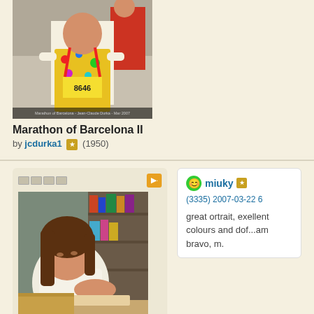[Figure (photo): Marathon of Barcelona II - person in colorful clown costume with number 8646 running in a marathon]
Marathon of Barcelona II
by jcdurka1 (1950)
[Figure (photo): Young woman in white t-shirt leaning over a desk reading or writing, library background]
miuky (3335) 2007-03-22 6
great ortrait, exellent colours and dof...am bravo, m.